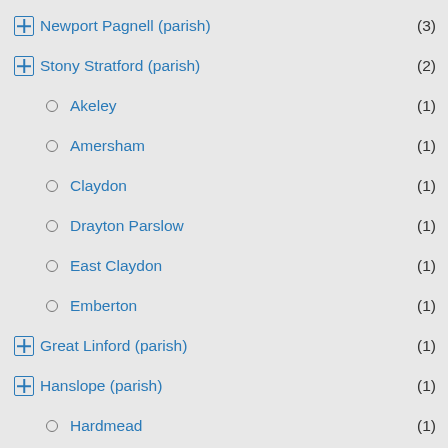Newport Pagnell (parish) (3)
Stony Stratford (parish) (2)
Akeley (1)
Amersham (1)
Claydon (1)
Drayton Parslow (1)
East Claydon (1)
Emberton (1)
Great Linford (parish) (1)
Hanslope (parish) (1)
Hardmead (1)
Haversham (parish) (1)
Lavendon (parish) (1)
Little Linford (1)